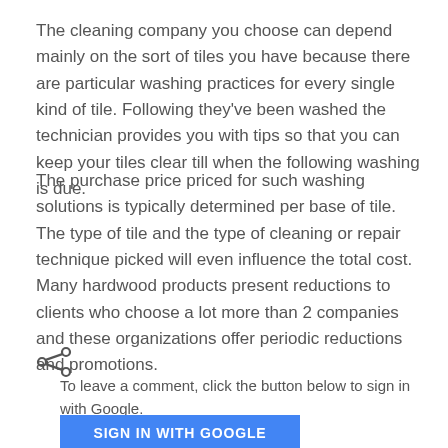The cleaning company you choose can depend mainly on the sort of tiles you have because there are particular washing practices for every single kind of tile. Following they've been washed the technician provides you with tips so that you can keep your tiles clear till when the following washing is due.
The purchase price priced for such washing solutions is typically determined per base of tile. The type of tile and the type of cleaning or repair technique picked will even influence the total cost. Many hardwood products present reductions to clients who choose a lot more than 2 companies and these organizations offer periodic reductions and promotions.
[Figure (other): Share icon (less-than style arrow/share symbol)]
To leave a comment, click the button below to sign in with Google.
SIGN IN WITH GOOGLE